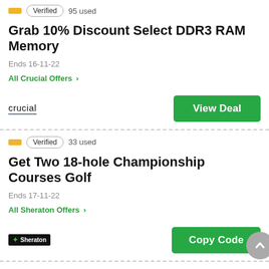Verified  95 used
Grab 10% Discount Select DDR3 RAM Memory
Ends 16-11-22
All Crucial Offers >
crucial  View Deal
Verified  33 used
Get Two 18-hole Championship Courses Golf
Ends 17-11-22
All Sheraton Offers >
Sheraton  Copy Code